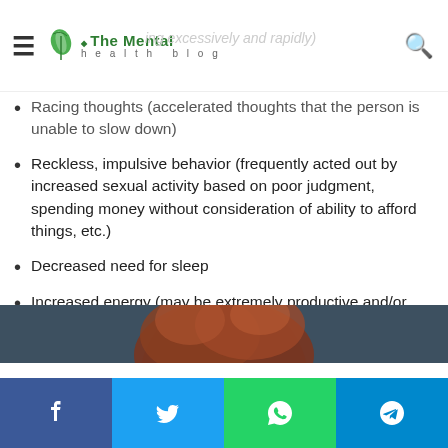The Mental Health Blog
Racing thoughts (accelerated thoughts that the person is unable to slow down)
Reckless, impulsive behavior (frequently acted out by increased sexual activity based on poor judgment, spending money without consideration of ability to afford things, etc.)
Decreased need for sleep
Increased energy (may be extremely productive and/or creative)
Psychosis
[Figure (photo): Person with auburn/red hair photographed from behind against a dark blue-grey background]
Social sharing bar: Facebook, Twitter, WhatsApp, Telegram